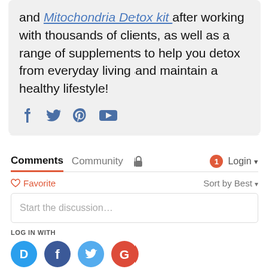and Mitochondria Detox kit after working with thousands of clients, as well as a range of supplements to help you detox from everyday living and maintain a healthy lifestyle!
[Figure (infographic): Social media icons: Facebook, Twitter, Pinterest, YouTube in blue/steel color]
Comments  Community  [lock icon]  [1 notification] Login
Favorite   Sort by Best
Start the discussion…
LOG IN WITH
[Figure (infographic): Login social icons: Disqus (blue), Facebook (dark blue), Twitter (light blue), Google (red)]